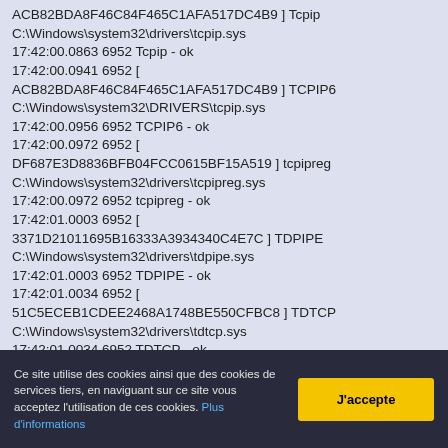ACB82BDA8F46C84F465C1AFA517DC4B9 ] Tcpip C:\Windows\system32\drivers\tcpip.sys
17:42:00.0863 6952 Tcpip - ok
17:42:00.0941 6952 [ ACB82BDA8F46C84F465C1AFA517DC4B9 ] TCPIP6 C:\Windows\system32\DRIVERS\tcpip.sys
17:42:00.0956 6952 TCPIP6 - ok
17:42:00.0972 6952 [ DF687E3D8836BFB04FCC0615BF15A519 ] tcpipreg C:\Windows\system32\drivers\tcpipreg.sys
17:42:00.0972 6952 tcpipreg - ok
17:42:01.0003 6952 [ 3371D21011695B16333A3934340C4E7C ] TDPIPE C:\Windows\system32\drivers\tdpipe.sys
17:42:01.0003 6952 TDPIPE - ok
17:42:01.0034 6952 [ 51C5ECEB1CDEE2468A1748BE550CFBC8 ] TDTCP C:\Windows\system32\drivers\tdtcp.sys
17:42:01.0034 6952 TDTCP - ok
Ce site utilise des cookies ainsi que des cookies de services tiers, en naviguant sur ce site vous acceptez l'utilisation de ces cookies. Plus d'informations
J'accepte